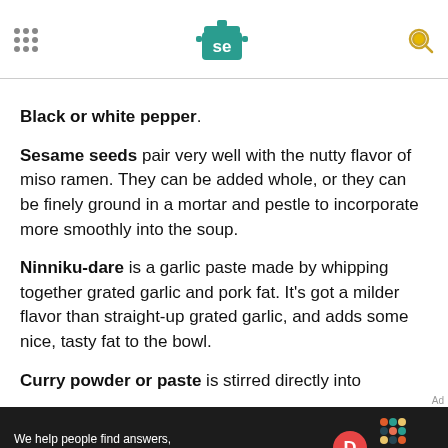Serious Eats header with navigation dots, SE logo, and search icon
Black or white pepper.
Sesame seeds pair very well with the nutty flavor of miso ramen. They can be added whole, or they can be finely ground in a mortar and pestle to incorporate more smoothly into the soup.
Ninniku-dare is a garlic paste made by whipping together grated garlic and pork fat. It's got a milder flavor than straight-up grated garlic, and adds some nice, tasty fat to the bowl.
Curry powder or paste is stirred directly into
[Figure (other): Ad banner: 'We help people find answers, solve problems and get inspired.' with Dotdash Meredith logo]